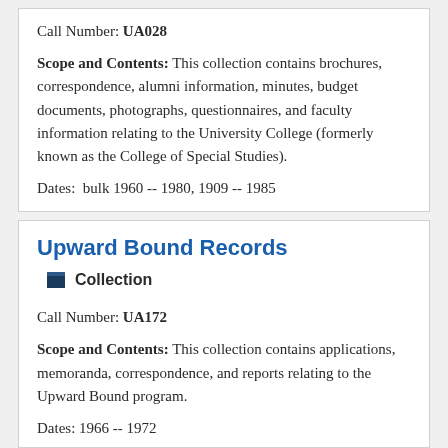Call Number: UA028
Scope and Contents: This collection contains brochures, correspondence, alumni information, minutes, budget documents, photographs, questionnaires, and faculty information relating to the University College (formerly known as the College of Special Studies).
Dates:  bulk 1960 -- 1980, 1909 -- 1985
Upward Bound Records
Collection
Call Number: UA172
Scope and Contents: This collection contains applications, memoranda, correspondence, and reports relating to the Upward Bound program.
Dates: 1966 -- 1972